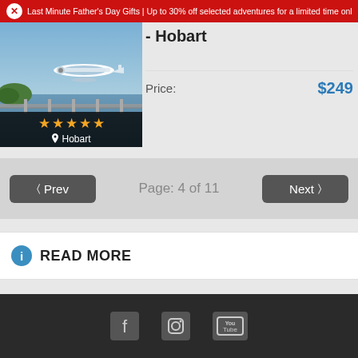Last Minute Father's Day Gifts | Up to 30% off selected adventures for a limited time only. Shop now.
- Hobart
Price: $249
[Figure (photo): Aerial view of a seaplane flying over a bridge and waterway near Hobart, with star rating overlay showing 4 stars and location label 'Hobart']
< Prev    Page: 4 of 11    Next >
READ MORE
Social media icons: Facebook, Instagram, YouTube